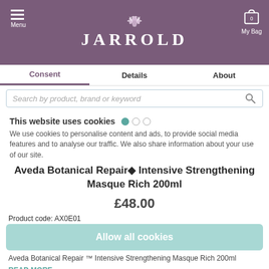JARROLD — Menu | My Bag (0)
Consent | Details | About
Search by product, brand or keyword
This website uses cookies
We use cookies to personalise content and ads, to provide social media features and to analyse our traffic. We also share information about your use of our site.
Aveda Botanical Repair® Intensive Strengthening Masque Rich 200ml
£48.00
Allow all cookies
Product code: AX0E01
Aveda Botanical Repair ™ Intensive Strengthening Masque Rich 200ml
READ MORE
Use necessary cookies only
Powered by Cookiebot by Usercentrics
Quantity:
- 1 +